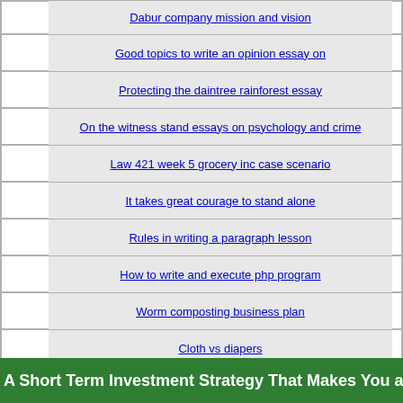Dabur company mission and vision
Good topics to write an opinion essay on
Protecting the daintree rainforest essay
On the witness stand essays on psychology and crime
Law 421 week 5 grocery inc case scenario
It takes great courage to stand alone
Rules in writing a paragraph lesson
How to write and execute php program
Worm composting business plan
Cloth vs diapers
A Short Term Investment Strategy That Makes You a Millionaire